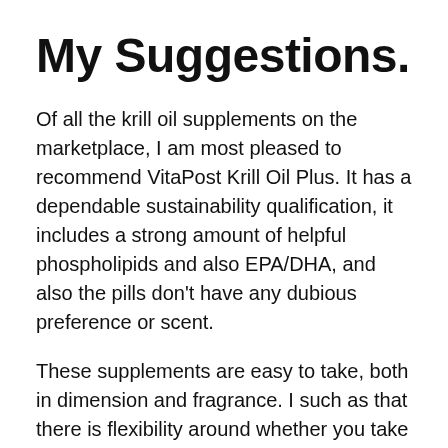My Suggestions.
Of all the krill oil supplements on the marketplace, I am most pleased to recommend VitaPost Krill Oil Plus. It has a dependable sustainability qualification, it includes a strong amount of helpful phospholipids and also EPA/DHA, and also the pills don’t have any dubious preference or scent.
These supplements are easy to take, both in dimension and fragrance. I such as that there is flexibility around whether you take one or two capsules daily. I mean if you wished to experience the effects faster, you could take two each day or if you intended to